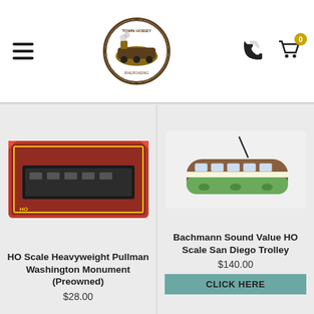Navigation header with hamburger menu, store logo, phone icon, and cart icon (0 items)
[Figure (photo): HO Scale Heavyweight Pullman Washington Monument (Preowned) product image - red box with black model train]
HO Scale Heavyweight Pullman Washington Monument (Preowned)
$28.00
[Figure (photo): Bachmann Sound Value HO Scale San Diego Trolley product image - green and brown trolley model]
Bachmann Sound Value HO Scale San Diego Trolley
$140.00
CLICK HERE